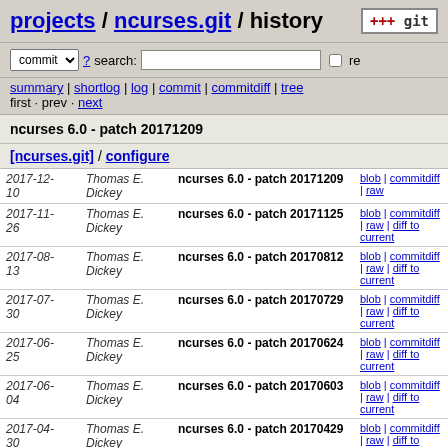projects / ncurses.git / history
commit ? search: re
summary | shortlog | log | commit | commitdiff | tree
first · prev · next
ncurses 6.0 - patch 20171209
[ncurses.git] / configure
| Date | Author | Commit message | Links |
| --- | --- | --- | --- |
| 2017-12-10 | Thomas E. Dickey | ncurses 6.0 - patch 20171209 | blob | commitdiff | raw |
| 2017-11-26 | Thomas E. Dickey | ncurses 6.0 - patch 20171125 | blob | commitdiff | raw | diff to current |
| 2017-08-13 | Thomas E. Dickey | ncurses 6.0 - patch 20170812 | blob | commitdiff | raw | diff to current |
| 2017-07-30 | Thomas E. Dickey | ncurses 6.0 - patch 20170729 | blob | commitdiff | raw | diff to current |
| 2017-06-25 | Thomas E. Dickey | ncurses 6.0 - patch 20170624 | blob | commitdiff | raw | diff to current |
| 2017-06-04 | Thomas E. Dickey | ncurses 6.0 - patch 20170603 | blob | commitdiff | raw | diff to current |
| 2017-04-30 | Thomas E. Dickey | ncurses 6.0 - patch 20170429 | blob | commitdiff | raw | diff to current |
| 2017-04-16 | Thomas E. Dickey | ncurses 6.0 - patch 20170415 | blob | commitdiff | raw | diff to current |